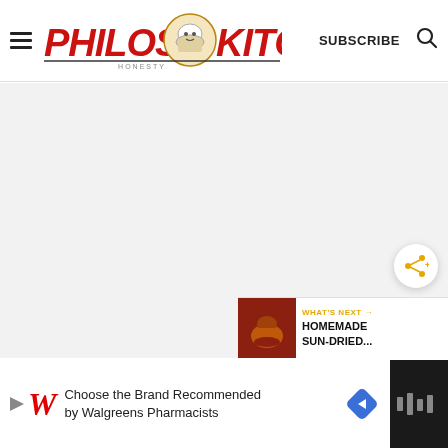[Figure (logo): Philos Kitchen website header with hamburger menu, logo, SUBSCRIBE text, and search icon]
[Figure (photo): Large empty/loading content area with light gray background]
[Figure (infographic): Share button (circular white button with orange share icon)]
[Figure (infographic): What's Next panel showing thumbnail and text: WHAT'S NEXT → HOMEMADE SUN-DRIED...]
[Figure (infographic): Advertisement bar at bottom: Walgreens ad - Choose the Brand Recommended by Walgreens Pharmacists, with navigation arrow icon and dark right block]